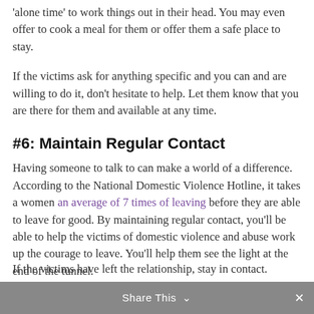'alone time' to work things out in their head. You may even offer to cook a meal for them or offer them a safe place to stay.
If the victims ask for anything specific and you can and are willing to do it, don't hesitate to help. Let them know that you are there for them and available at any time.
#6: Maintain Regular Contact
Having someone to talk to can make a world of a difference. According to the National Domestic Violence Hotline, it takes a women an average of 7 times of leaving before they are able to leave for good. By maintaining regular contact, you'll be able to help the victims of domestic violence and abuse work up the courage to leave. You'll help them see the light at the end of the tunnel.
If the victims have left the relationship, stay in contact.
Share This ∨  ✕